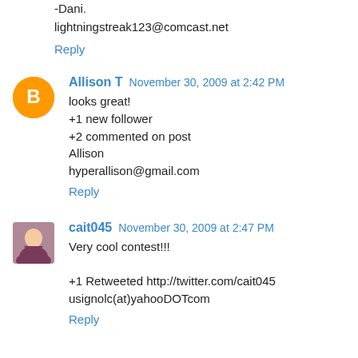-Dani.
lightningstreak123@comcast.net
Reply
Allison T  November 30, 2009 at 2:42 PM
looks great!
+1 new follower
+2 commented on post
Allison
hyperallison@gmail.com
Reply
cait045  November 30, 2009 at 2:47 PM
Very cool contest!!!

+1 Retweeted http://twitter.com/cait045
usignolc(at)yahooDOTcom
Reply